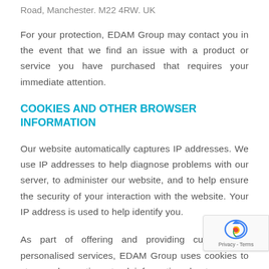Road, Manchester. M22 4RW. UK
For your protection, EDAM Group may contact you in the event that we find an issue with a product or service you have purchased that requires your immediate attention.
COOKIES AND OTHER BROWSER INFORMATION
Our website automatically captures IP addresses. We use IP addresses to help diagnose problems with our server, to administer our website, and to help ensure the security of your interaction with the website. Your IP address is used to help identify you.
As part of offering and providing customisable personalised services, EDAM Group uses cookies to store and sometimes track information about